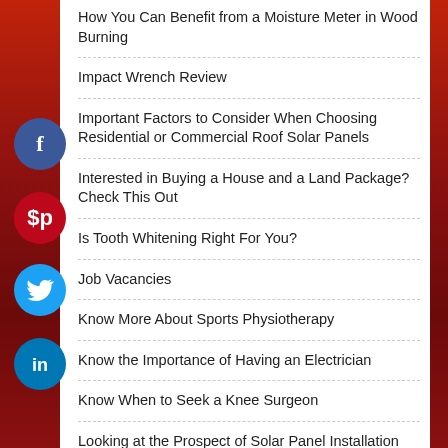How You Can Benefit from a Moisture Meter in Wood Burning
Impact Wrench Review
Important Factors to Consider When Choosing Residential or Commercial Roof Solar Panels
Interested in Buying a House and a Land Package? Check This Out
Is Tooth Whitening Right For You?
Job Vacancies
Know More About Sports Physiotherapy
Know the Importance of Having an Electrician
Know When to Seek a Knee Surgeon
Looking at the Prospect of Solar Panel Installation
Making Your Audience Feel You're Successful